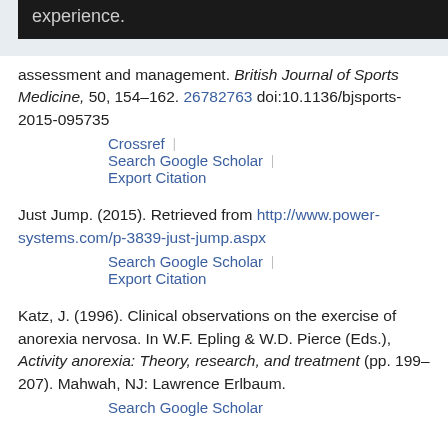experience.
assessment and management. British Journal of Sports Medicine, 50, 154–162. 26782763 doi:10.1136/bjsports-2015-095735
Crossref | Search Google Scholar | Export Citation
Just Jump. (2015). Retrieved from http://www.power-systems.com/p-3839-just-jump.aspx
Search Google Scholar | Export Citation
Katz, J. (1996). Clinical observations on the exercise of anorexia nervosa. In W.F. Epling & W.D. Pierce (Eds.), Activity anorexia: Theory, research, and treatment (pp. 199–207). Mahwah, NJ: Lawrence Erlbaum.
Search Google Scholar